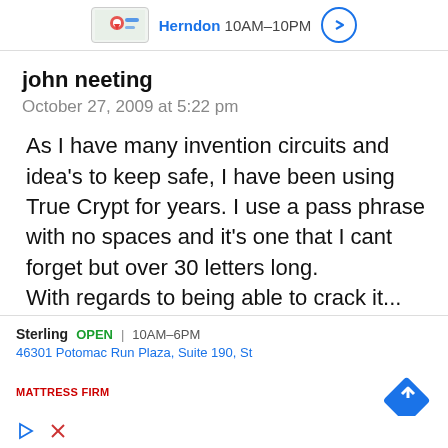[Figure (screenshot): Top advertisement banner showing a map pin icon, Herndon location name in blue, hours 10AM-10PM, and a blue circular arrow icon]
john neeting
October 27, 2009 at 5:22 pm
As I have many invention circuits and idea's to keep safe, I have been using True Crypt for years. I use a pass phrase with no spaces and it's one that I cant forget but over 30 letters long. With regards to being able to crack it... not possible without a gra...
[Figure (screenshot): Bottom advertisement banner for Mattress Firm Sterling location: OPEN 10AM-6PM, 46301 Potomac Run Plaza Suite 190, St, with a blue diamond route icon, play button icon, and close X icon]